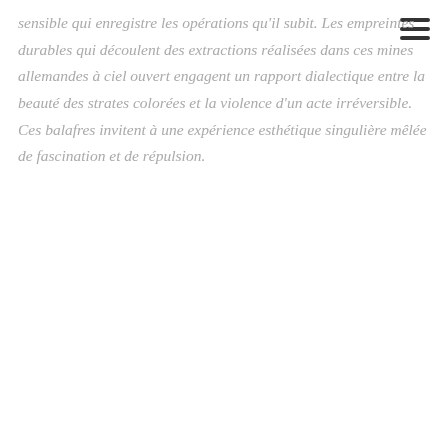sensible qui enregistre les opérations qu'il subit. Les empreintes durables qui découlent des extractions réalisées dans ces mines allemandes à ciel ouvert engagent un rapport dialectique entre la beauté des strates colorées et la violence d'un acte irréversible. Ces balafres invitent à une expérience esthétique singulière mêlée de fascination et de répulsion.